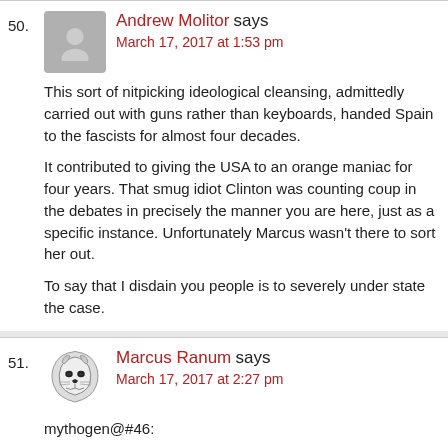50. Andrew Molitor says
March 17, 2017 at 1:53 pm
This sort of nitpicking ideological cleansing, admittedly carried out with guns rather than keyboards, handed Spain to the fascists for almost four decades.
It contributed to giving the USA to an orange maniac for four years. That smug idiot Clinton was counting coup in the debates in precisely the manner you are here, just as a specific instance. Unfortunately Marcus wasn't there to sort her out.
To say that I disdain you people is to severely under state the case.
51. Marcus Ranum says
March 17, 2017 at 2:27 pm
mythogen@#46:
There are huge problems with the history of psychology